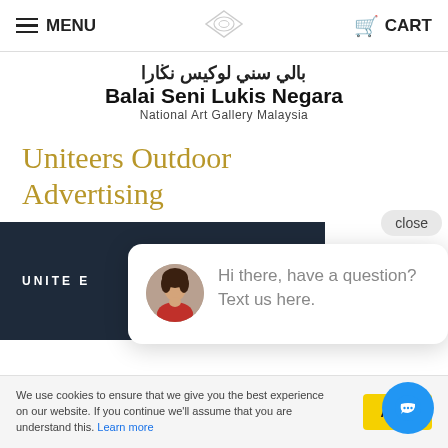MENU | CART
[Figure (logo): Balai Seni Lukis Negara (National Art Gallery Malaysia) logo with diamond shape and Arabic text]
Uniteers Outdoor Advertising
[Figure (screenshot): Dark navy promotional banner with UNITEE text partially visible, overlapped by a chat popup showing avatar and message 'Hi there, have a question? Text us here.' with a close button]
We use cookies to ensure that we give you the best experience on our website. If you continue we'll assume that you are understand this. Learn more